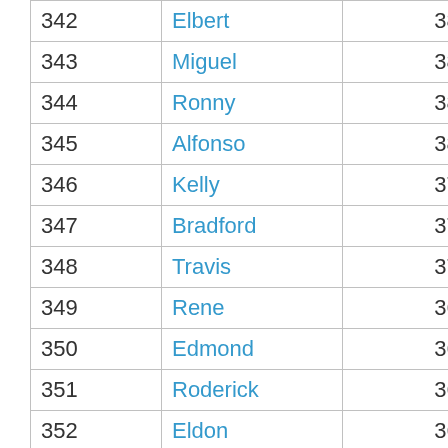| 342 | Elbert | 385 |
| 343 | Miguel | 383 |
| 344 | Ronny | 382 |
| 345 | Alfonso | 380 |
| 346 | Kelly | 379 |
| 347 | Bradford | 376 |
| 348 | Travis | 374 |
| 349 | Rene | 369 |
| 350 | Edmond | 366 |
| 351 | Roderick | 364 |
| 352 | Eldon | 363 |